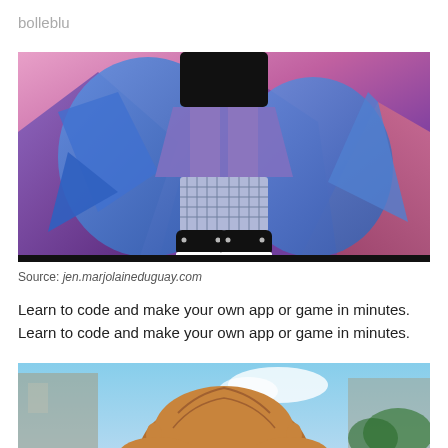bolleblu
[Figure (illustration): Anime-style character lower body with blue hair, black top, fishnet stockings, purple skirt and black sneakers, against a dramatic pink/purple mountain sky background]
Source: jen.marjolaineduguay.com
Learn to code and make your own app or game in minutes.
Learn to code and make your own app or game in minutes.
[Figure (illustration): Anime-style character shown from behind with brown hair, against a blurred city street and blue sky background]